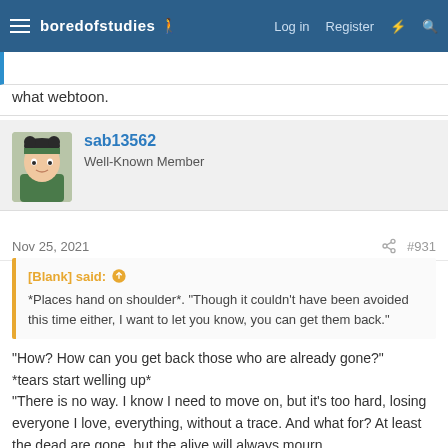boredofstudies | Log in | Register
what webtoon.
sab13562
Well-Known Member
Nov 25, 2021  #931
[Blank] said: ↑
*Places hand on shoulder*. "Though it couldn't have been avoided this time either, I want to let you know, you can get them back."
"How? How can you get back those who are already gone?" *tears start welling up*
"There is no way. I know I need to move on, but it's too hard, losing everyone I love, everything, without a trace. And what for? At least the dead are gone, but the alive will always mourn,